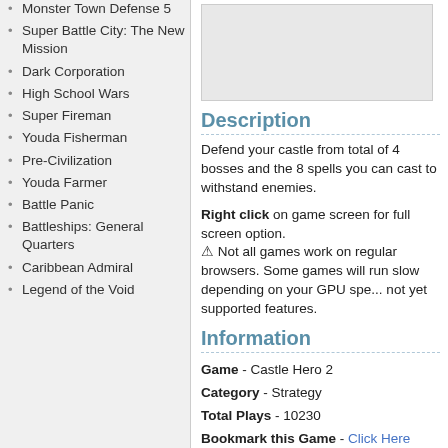Monster Town Defense 5
Super Battle City: The New Mission
Dark Corporation
High School Wars
Super Fireman
Youda Fisherman
Pre-Civilization
Youda Farmer
Battle Panic
Battleships: General Quarters
Caribbean Admiral
Legend of the Void
Description
Defend your castle from total of 4 bosses and the 8 spells you can cast to withstand enemies.
Right click on game screen for full screen option. ⚠ Not all games work on regular browsers. Some games will run slow depending on your GPU spe... not yet supported features.
Information
Game - Castle Hero 2
Category - Strategy
Total Plays - 10230
Bookmark this Game - Click Here
Game Flags
None
Game Not Working?
You might also like..
Raid Mission
Move your squad and take cover as you shoot in this turn based ...